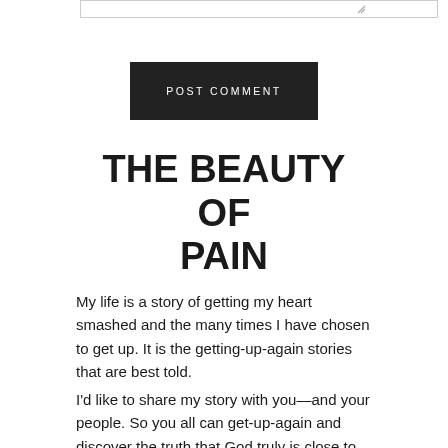[Figure (screenshot): A textarea input box with a resize handle icon in the bottom-right corner]
[Figure (screenshot): A dark/black button labeled POST COMMENT in uppercase spaced letters]
THE BEAUTY OF PAIN
My life is a story of getting my heart smashed and the many times I have chosen to get up. It is the getting-up-again stories that are best told.
I'd like to share my story with you—and your people. So you all can get-up-again and discover the truth that God truly is close to